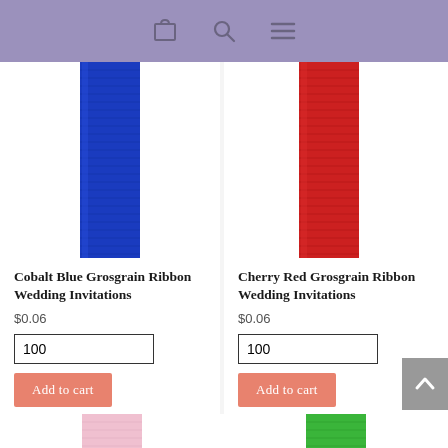Navigation bar with cart, search, and menu icons
[Figure (photo): Cobalt blue grosgrain ribbon vertical strip on white background]
[Figure (photo): Cherry red grosgrain ribbon vertical strip on white background]
Cobalt Blue Grosgrain Ribbon Wedding Invitations
$0.06
Cherry Red Grosgrain Ribbon Wedding Invitations
$0.06
[Figure (photo): Pink grosgrain ribbon vertical strip on white background, partially visible at bottom]
[Figure (photo): Green grosgrain ribbon vertical strip on white background, partially visible at bottom]